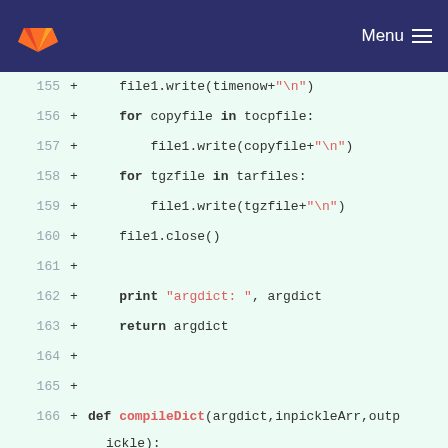GitLab Menu
[Figure (screenshot): Code diff view showing Python source lines 155-173 with line numbers, plus signs, and syntax highlighting on a light green background.]